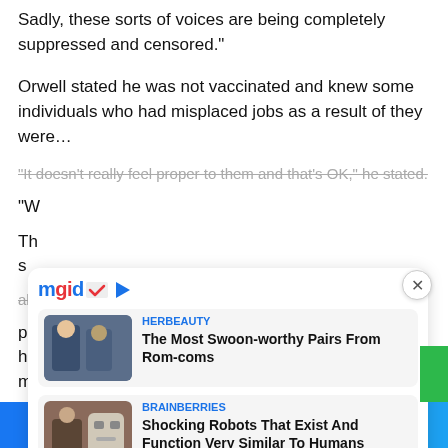Sadly, these sorts of voices are being completely suppressed and censored."
Orwell stated he was not vaccinated and knew some individuals who had misplaced jobs as a result of they were
"It doesn't really feel proper to them and that's OK," he stated.
"W
Th s
although it was unclear if the commotion on the plaza
pro ho mu
[Figure (screenshot): Mgid ad widget overlay showing two sponsored content items: 1) HERBEAUTY - 'The Most Swoon-worthy Pairs From Rom-coms' with a TV show thumbnail, 2) BRAINBERRIES - 'Shocking Robots That Exist And Function Very Similar To Humans' with a robot thumbnail. Widget has Mgid logo with checkmark and play icon at top, close button top right.]
Facebook share button | Twitter share button